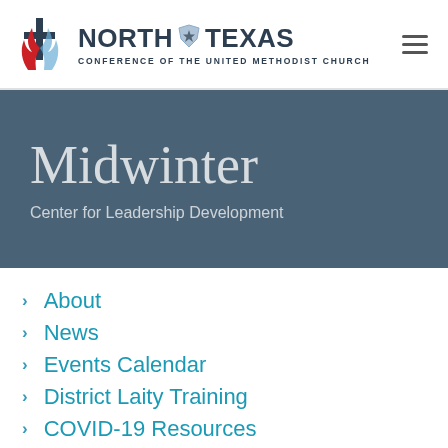North Texas Conference of the United Methodist Church
Midwinter
Center for Leadership Development
About
News
Events Calendar
District Laity Training
COVID-19 Resources
Zoom Recordings